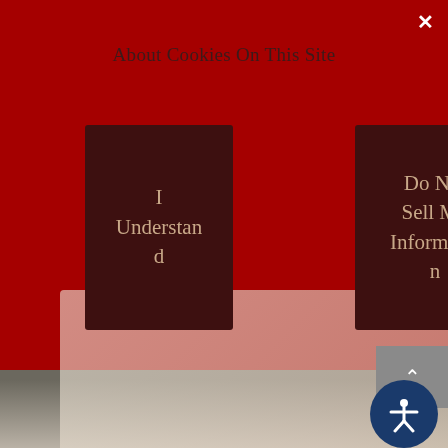About Cookies On This Site
I Understand
Do Not Sell My Information
[Figure (screenshot): Cookie consent overlay on a website with dark red background, showing two buttons: 'I Understand' and 'Do Not Sell My Information'. Below is a gray navigation band and a blurred photo of a smartphone on a desk.]